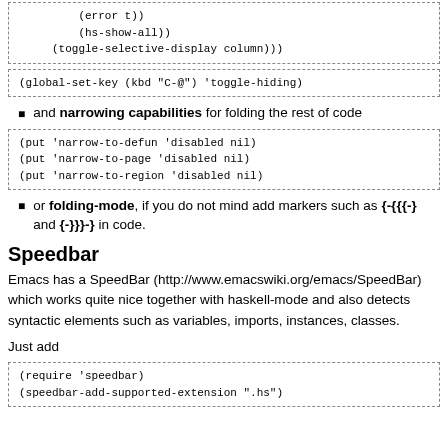[Figure (other): Code block showing (error t)) (hs-show-all)) (toggle-selective-display column)))]
[Figure (other): Code block showing (global-set-key (kbd "C-@") 'toggle-hiding)]
and narrowing capabilities for folding the rest of code
[Figure (other): Code block showing (put 'narrow-to-defun 'disabled nil) (put 'narrow-to-page 'disabled nil) (put 'narrow-to-region 'disabled nil)]
or folding-mode, if you do not mind add markers such as {-{{{-} and {-}}}-} in code.
Speedbar
Emacs has a SpeedBar (http://www.emacswiki.org/emacs/SpeedBar) which works quite nice together with haskell-mode and also detects syntactic elements such as variables, imports, instances, classes.
Just add
[Figure (other): Code block showing (require 'speedbar) (speedbar-add-supported-extension ".hs")]